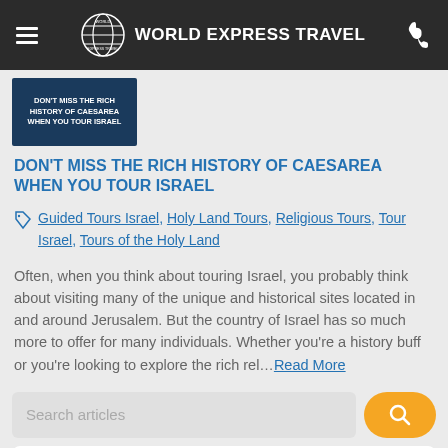WORLD EXPRESS TRAVEL
[Figure (photo): Thumbnail image with text: DON'T MISS THE RICH HISTORY OF CAESAREA WHEN YOU TOUR ISRAEL on dark blue background]
DON'T MISS THE RICH HISTORY OF CAESAREA WHEN YOU TOUR ISRAEL
Guided Tours Israel, Holy Land Tours, Religious Tours, Tour Israel, Tours of the Holy Land
Often, when you think about touring Israel, you probably think about visiting many of the unique and historical sites located in and around Jerusalem. But the country of Israel has so much more to offer for many individuals. Whether you're a history buff or you're looking to explore the rich rel…Read More